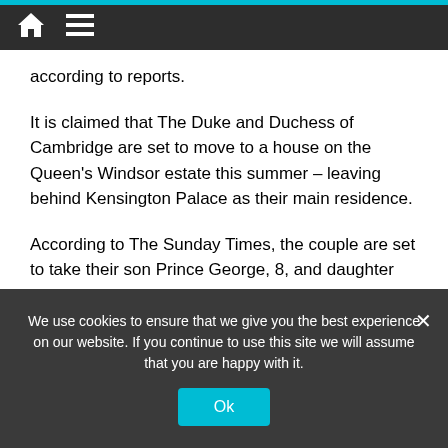Navigation bar with home icon and menu icon
according to reports.
It is claimed that The Duke and Duchess of Cambridge are set to move to a house on the Queen's Windsor estate this summer – leaving behind Kensington Palace as their main residence.
According to The Sunday Times, the couple are set to take their son Prince George, 8, and daughter Princess Charlotte, 7, out of their current prep school in Battersea at the end of the school year.
George and Charlotte will then join their younger
We use cookies to ensure that we give you the best experience on our website. If you continue to use this site we will assume that you are happy with it.